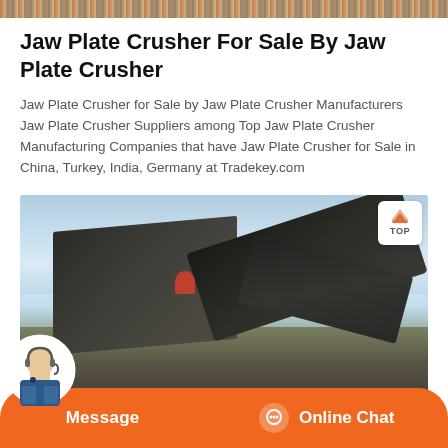[decorative banner image]
Jaw Plate Crusher For Sale By Jaw Plate Crusher
Jaw Plate Crusher for Sale by Jaw Plate Crusher Manufacturers Jaw Plate Crusher Suppliers among Top Jaw Plate Crusher Manufacturing Companies that have Jaw Plate Crusher for Sale in China, Turkey, India, Germany at Tradekey.com
[Figure (photo): Industrial jaw plate crusher machinery at an outdoor quarry site, showing large conveyor belts and crushing equipment against a blue sky background]
Message | Online Chat